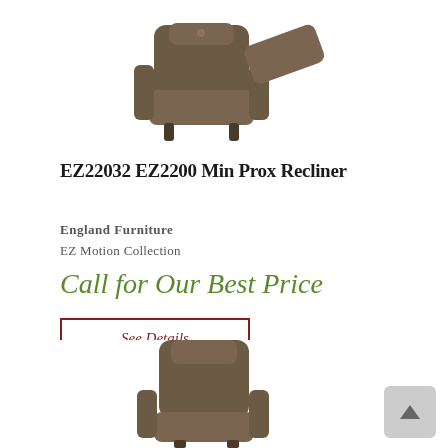[Figure (photo): Brown leather recliner chair shown in reclined position with footrest extended, photographed from a slightly elevated angle against white background.]
EZ22032 EZ2200 Min Prox Recliner
England Furniture
EZ Motion Collection
Call for Our Best Price
See Details
[Figure (photo): Brown leather recliner chair shown in upright/normal sitting position, partially visible at the bottom of the page.]